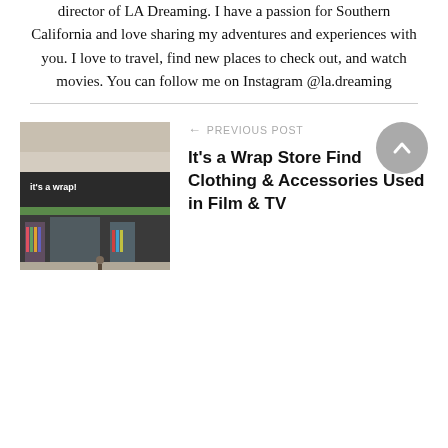Michelle Arc is the founder and creative director of LA Dreaming. I have a passion for Southern California and love sharing my adventures and experiences with you. I love to travel, find new places to check out, and watch movies. You can follow me on Instagram @la.dreaming
[Figure (photo): Exterior photo of 'It's a Wrap!' clothing store with clothing racks visible inside]
← PREVIOUS POST
It's a Wrap Store Find Clothing & Accessories Used in Film & TV